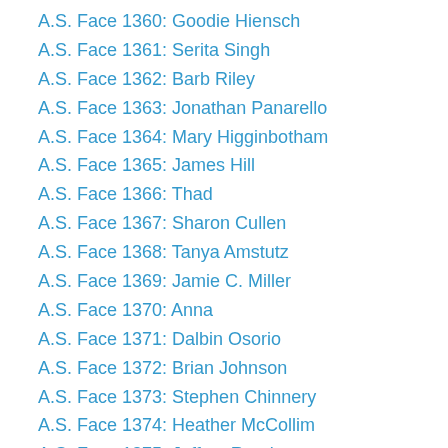A.S. Face 1360: Goodie Hiensch
A.S. Face 1361: Serita Singh
A.S. Face 1362: Barb Riley
A.S. Face 1363: Jonathan Panarello
A.S. Face 1364: Mary Higginbotham
A.S. Face 1365: James Hill
A.S. Face 1366: Thad
A.S. Face 1367: Sharon Cullen
A.S. Face 1368: Tanya Amstutz
A.S. Face 1369: Jamie C. Miller
A.S. Face 1370: Anna
A.S. Face 1371: Dalbin Osorio
A.S. Face 1372: Brian Johnson
A.S. Face 1373: Stephen Chinnery
A.S. Face 1374: Heather McCollim
A.S. Face 1375: Jeffrey Rood
A.S. Face 1376: Jesse Osborne
A.S. Face 1377: Tracy Ganskow
A.S. Face 1378: Andrew Blake Spain
A.S. Face 1379: Lisa G.